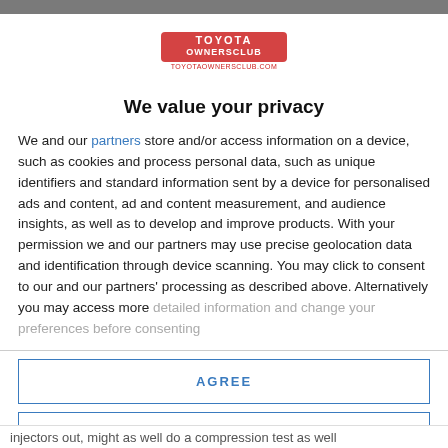[Figure (logo): Toyota Owners Club logo with red stylized text and website URL]
We value your privacy
We and our partners store and/or access information on a device, such as cookies and process personal data, such as unique identifiers and standard information sent by a device for personalised ads and content, ad and content measurement, and audience insights, as well as to develop and improve products. With your permission we and our partners may use precise geolocation data and identification through device scanning. You may click to consent to our and our partners' processing as described above. Alternatively you may access more detailed information and change your preferences before consenting
AGREE
MORE OPTIONS
injectors out, might as well do a compression test as well